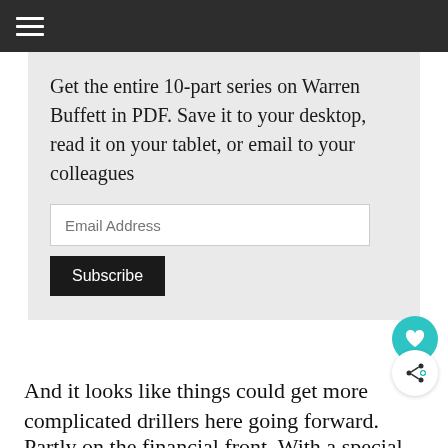☰
eBook
Get the entire 10-part series on Warren Buffett in PDF. Save it to your desktop, read it on your tablet, or email to your colleagues
Email Address
Subscribe
And it looks like things could get more complicated drillers here going forward.
Partly on the financial front. With a special committee